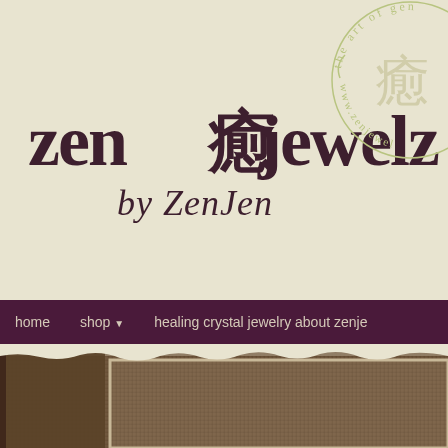[Figure (logo): Zen Jewelz by ZenJen logo with Chinese healing kanji character, dark purple/maroon text on cream background, with circular seal logo in top right showing 'the art of gem...' text around Chinese character]
home   shop ▼   healing crystal jewelry about zenje
[Figure (photo): Burlap fabric texture filling lower portion of page, dark brown woven textile with lighter cream/ivory rectangular frame border overlay on right side]